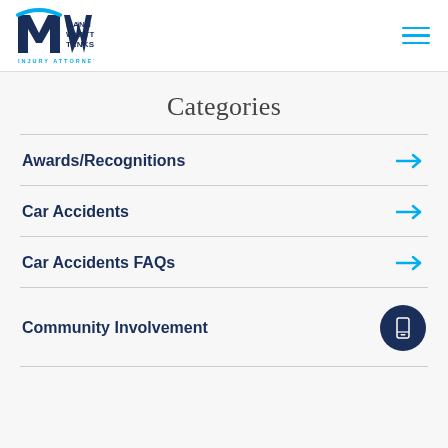[Figure (logo): Mann Wyatt Tanksley Injury Attorneys logo with MW monogram in dark navy and cyan blue]
Categories
Awards/Recognitions
Car Accidents
Car Accidents FAQs
Community Involvement